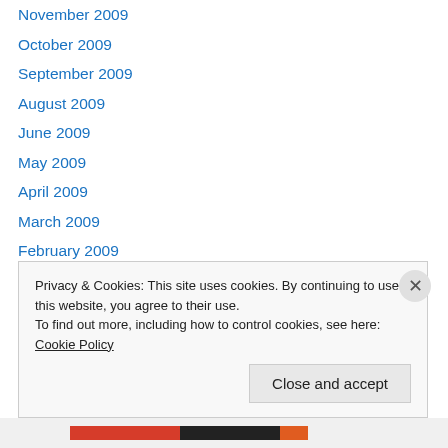November 2009
October 2009
September 2009
August 2009
June 2009
May 2009
April 2009
March 2009
February 2009
January 2009
December 2008
November 2008
October 2008
Privacy & Cookies: This site uses cookies. By continuing to use this website, you agree to their use.
To find out more, including how to control cookies, see here: Cookie Policy
Close and accept